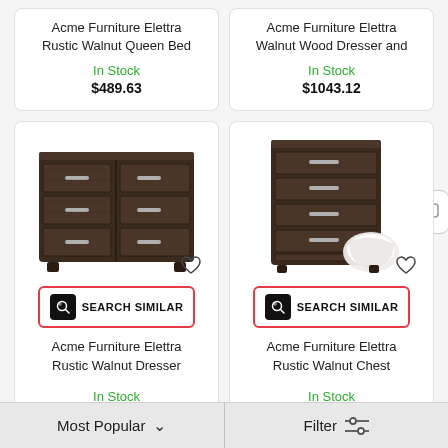Acme Furniture Elettra Rustic Walnut Queen Bed
In Stock
$489.63
Acme Furniture Elettra Walnut Wood Dresser and
In Stock
$1043.12
[Figure (photo): Dark walnut wood dresser with 6 drawers and silver handles]
SEARCH SIMILAR
Acme Furniture Elettra Rustic Walnut Dresser
In Stock
$823.16
[Figure (photo): Dark walnut wood chest of drawers with 5 drawers and white bedding]
SEARCH SIMILAR
Acme Furniture Elettra Rustic Walnut Chest
In Stock
$650.01
Most Popular
Filter